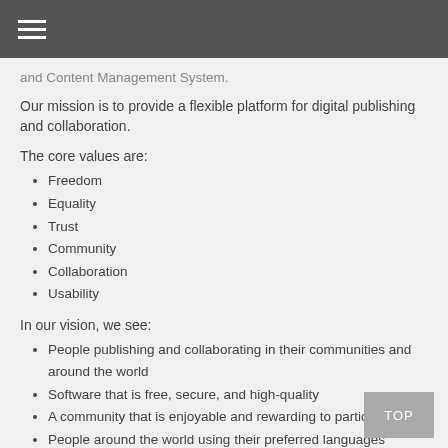☰
and Content Management System.
Our mission is to provide a flexible platform for digital publishing and collaboration.
The core values are:
Freedom
Equality
Trust
Community
Collaboration
Usability
In our vision, we see:
People publishing and collaborating in their communities and around the world
Software that is free, secure, and high-quality
A community that is enjoyable and rewarding to participate in
People around the world using their preferred languages